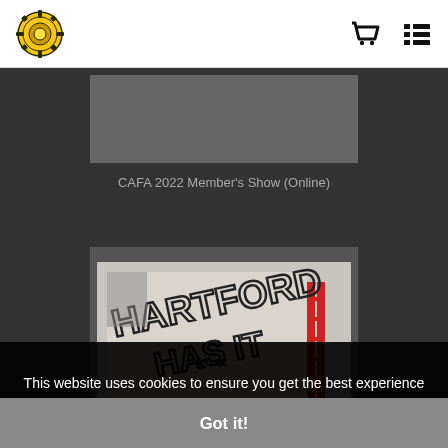CAFA logo | shopping cart icon | list icon
CAFA 2022 Member's Show (Online)
[Figure (photo): Photo of a mural on a building wall reading 'HARTFORD HAS IT' in large outlined block letters, with a red ladder visible on the right side]
This website uses cookies to ensure you get the best experience on our website.
Got it!